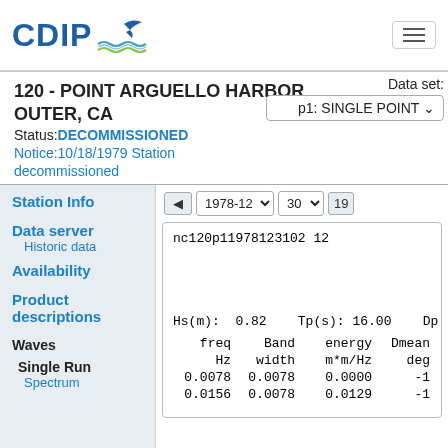CDIP
120 - POINT ARGUELLO HARBOR OUTER, CA
Status: DECOMMISSIONED
Notice:10/18/1979 Station decommissioned
Data set: p1: SINGLE POINT
Station Info
Data server
  Historic data
Availability
Product descriptions
Waves
Single Run
  Spectrum
nc120p11978123102 12
Hs(m): 0.82    Tp(s): 16.00    Dp
| freq Hz | Band width | energy m*m/Hz | Dmean deg |
| --- | --- | --- | --- |
| 0.0078 | 0.0078 | 0.0000 | -1 |
| 0.0156 | 0.0078 | 0.0129 | -1 |